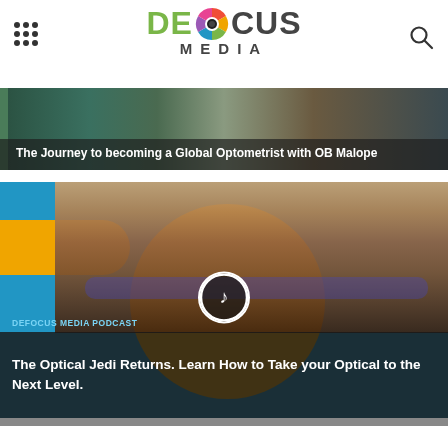[Figure (logo): Defocus Media logo with colorful camera aperture icon and text DEFOCUS MEDIA]
[Figure (photo): Article card: The Journey to becoming a Global Optometrist with OB Malope]
The Journey to becoming a Global Optometrist with OB Malope
[Figure (photo): Defocus Media Podcast card with man wearing blue glasses]
DEFOCUS MEDIA PODCAST
The Optical Jedi Returns. Learn How to Take your Optical to the Next Level.